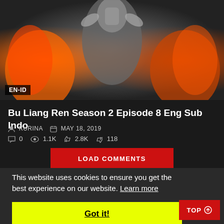[Figure (photo): Anime/fantasy character with flames, thumbnail for Bu Liang Ren Season 2 Episode 8. Badge showing EN-ID in bottom left corner.]
Bu Liang Ren Season 2 Episode 8 Eng Sub Indo
KURINA  MAY 18, 2019
0  1.1K  2.8K  118
LOAD COMMENTS
This website uses cookies to ensure you get the best experience on our website. Learn more
Got it!
TOP